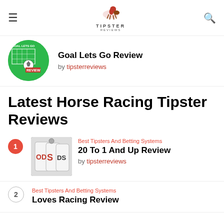Tipster Reviews
Goal Lets Go Review
by tipsterreviews
Latest Horse Racing Tipster Reviews
Best Tipsters And Betting Systems
20 To 1 And Up Review
by tipsterreviews
Best Tipsters And Betting Systems
Loves Racing Review